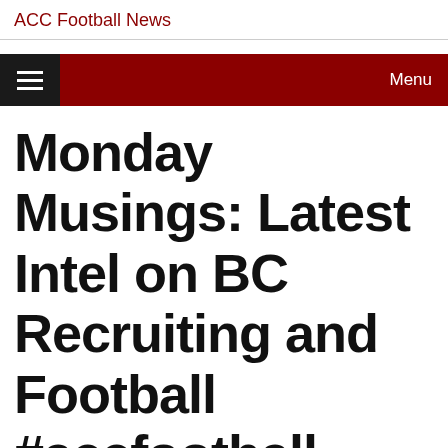ACC Football News
Monday Musings: Latest Intel on BC Recruiting and Football #accfootball
Monday Musings: Latest Intel on BC Recruiting and Football CalBearsMaven
Share this: